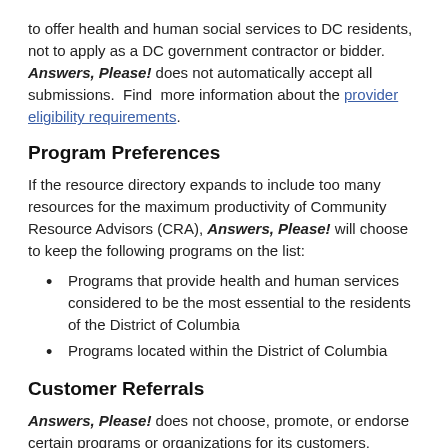to offer health and human social services to DC residents, not to apply as a DC government contractor or bidder. Answers, Please! does not automatically accept all submissions. Find more information about the provider eligibility requirements.
Program Preferences
If the resource directory expands to include too many resources for the maximum productivity of Community Resource Advisors (CRA), Answers, Please! will choose to keep the following programs on the list:
Programs that provide health and human services considered to be the most essential to the residents of the District of Columbia
Programs located within the District of Columbia
Customer Referrals
Answers, Please! does not choose, promote, or endorse certain programs or organizations for its customers. Community